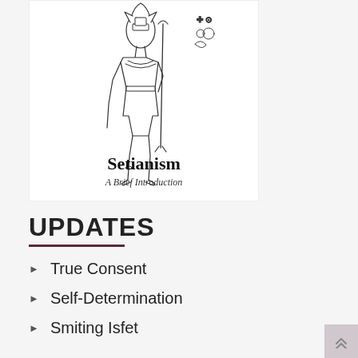[Figure (illustration): Book cover showing an Egyptian god Seth figure (animal-headed deity holding a staff) with hieroglyphic symbols to the right. Title reads 'Setianism' and subtitle 'A Brief Introduction'.]
UPDATES
True Consent
Self-Determination
Smiting Isfet